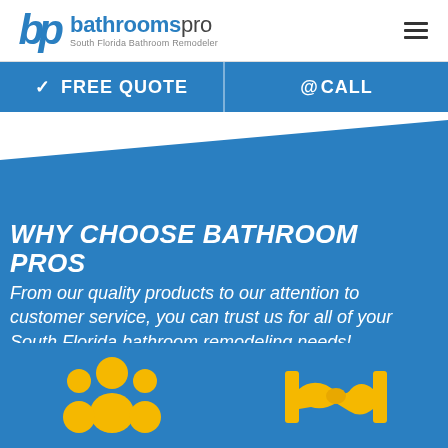[Figure (logo): BathroomsPro logo with blue 'bp' icon and text 'bathroomspro South Florida Bathroom Remodeler']
✓ FREE QUOTE
@CALL
WHY CHOOSE BATHROOM PROS
From our quality products to our attention to customer service, you can trust us for all of your South Florida bathroom remodeling needs!
[Figure (illustration): Yellow icon of group of people (team/customers icon)]
[Figure (illustration): Yellow icon of handshake with hands (partnership/deal icon)]